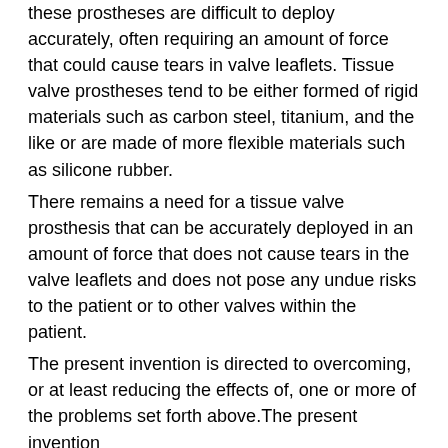these prostheses are difficult to deploy accurately, often requiring an amount of force that could cause tears in valve leaflets. Tissue valve prostheses tend to be either formed of rigid materials such as carbon steel, titanium, and the like or are made of more flexible materials such as silicone rubber.
There remains a need for a tissue valve prosthesis that can be accurately deployed in an amount of force that does not cause tears in the valve leaflets and does not pose any undue risks to the patient or to other valves within the patient.
The present invention is directed to overcoming, or at least reducing the effects of, one or more of the problems set forth above.The present invention
islamic studies mcqs by imtiaz shahid pdf free
Gran Turismo 3 Ps Downloadl